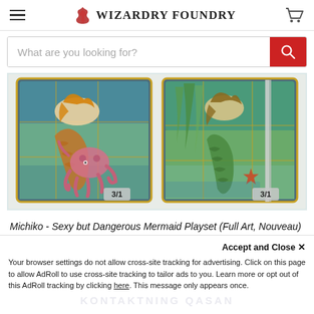Wizardry Foundry
What are you looking for?
[Figure (photo): Two fantasy trading cards side by side. Left card shows a mermaid with a pink octopus on a stained-glass art nouveau background, labeled 3/1. Right card shows a green-tailed mermaid with a starfish, also in stained-glass style, labeled 3/1.]
Michiko - Sexy but Dangerous Mermaid Playset (Full Art, Nouveau)
Accept and Close ✕
Your browser settings do not allow cross-site tracking for advertising. Click on this page to allow AdRoll to use cross-site tracking to tailor ads to you. Learn more or opt out of this AdRoll tracking by clicking here. This message only appears once.